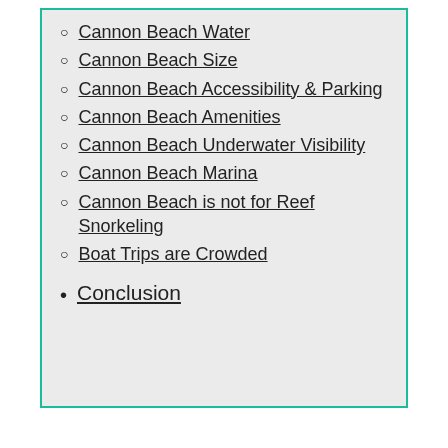Cannon Beach Water
Cannon Beach Size
Cannon Beach Accessibility & Parking
Cannon Beach Amenities
Cannon Beach Underwater Visibility
Cannon Beach Marina
Cannon Beach is not for Reef Snorkeling
Boat Trips are Crowded
Conclusion